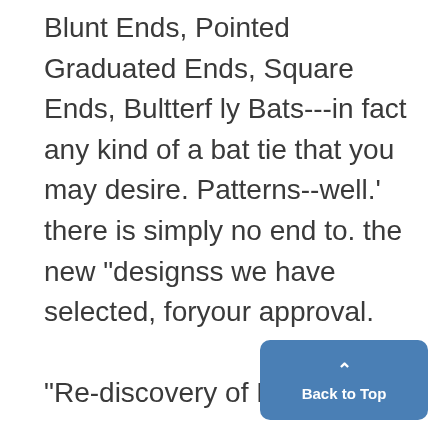Blunt Ends, Pointed Graduated Ends, Square Ends, Bultterf ly Bats---in fact any kind of a bat tie that you may desire. Patterns--well.' there is simply no end to. the new "designss we have selected, foryour approval.

"Re-discovery of Engiad

l
Back to Top